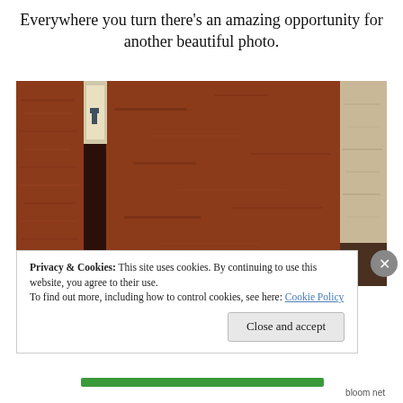Everywhere you turn there's an amazing opportunity for another beautiful photo.
[Figure (photo): A narrow cobblestone alley with tall terracotta/rust-colored walls on both sides, leading to a bright doorway in the distance. Stone pavement on the left, thick earthen walls dominate the right side.]
Privacy & Cookies: This site uses cookies. By continuing to use this website, you agree to their use. To find out more, including how to control cookies, see here: Cookie Policy
Close and accept